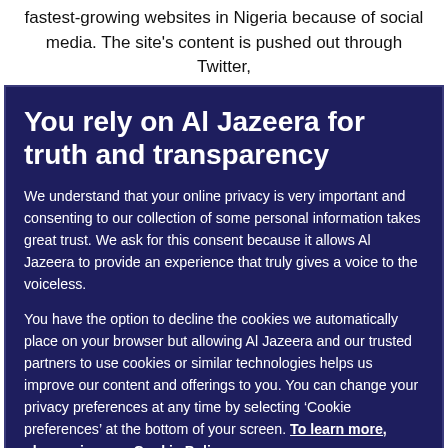fastest-growing websites in Nigeria because of social media. The site's content is pushed out through Twitter,
You rely on Al Jazeera for truth and transparency
We understand that your online privacy is very important and consenting to our collection of some personal information takes great trust. We ask for this consent because it allows Al Jazeera to provide an experience that truly gives a voice to the voiceless.
You have the option to decline the cookies we automatically place on your browser but allowing Al Jazeera and our trusted partners to use cookies or similar technologies helps us improve our content and offerings to you. You can change your privacy preferences at any time by selecting ‘Cookie preferences’ at the bottom of your screen. To learn more, please view our Cookie Policy.